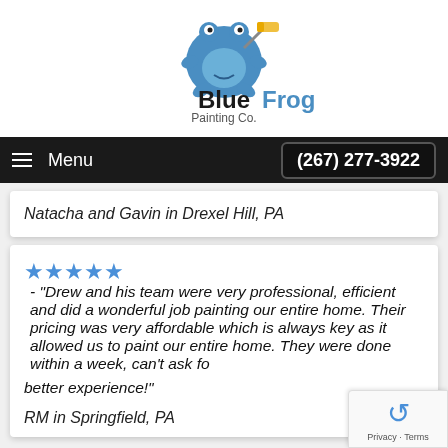[Figure (logo): Blue Frog Painting Co. logo — blue cartoon frog holding a paint roller, with bold text 'BlueFrog' and subtitle 'Painting Co.']
Menu  (267) 277-3922
Natacha and Gavin in Drexel Hill, PA
★★★★★ - "Drew and his team were very professional, efficient and did a wonderful job painting our entire home. Their pricing was very affordable which is always key as it allowed us to paint our entire home. They were done within a week, can't ask for a better experience!"
RM in Springfield, PA